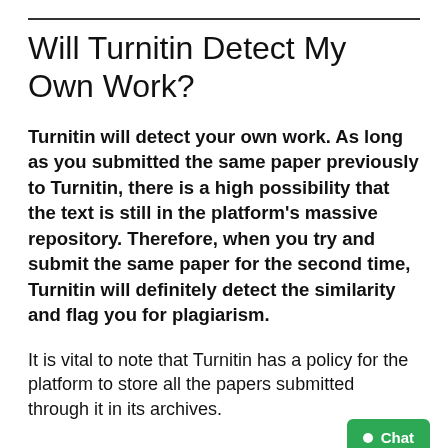Will Turnitin Detect My Own Work?
Turnitin will detect your own work. As long as you submitted the same paper previously to Turnitin, there is a high possibility that the text is still in the platform’s massive repository. Therefore, when you try and submit the same paper for the second time, Turnitin will definitely detect the similarity and flag you for plagiarism.
It is vital to note that Turnitin has a policy for the platform to store all the papers submitted through it in its archives.